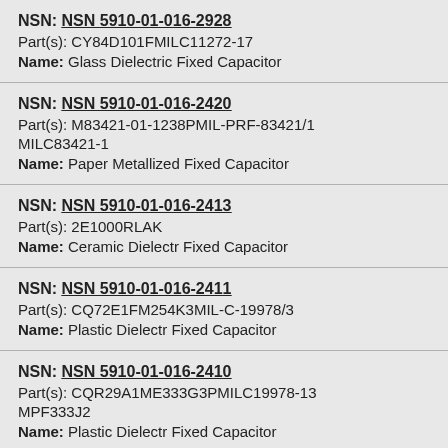NSN: NSN 5910-01-016-2928
Part(s): CY84D101FMILC11272-17
Name: Glass Dielectric Fixed Capacitor
NSN: NSN 5910-01-016-2420
Part(s): M83421-01-1238PMIL-PRF-83421/1 MILC83421-1
Name: Paper Metallized Fixed Capacitor
NSN: NSN 5910-01-016-2413
Part(s): 2E1000RLAK
Name: Ceramic Dielectr Fixed Capacitor
NSN: NSN 5910-01-016-2411
Part(s): CQ72E1FM254K3MIL-C-19978/3
Name: Plastic Dielectr Fixed Capacitor
NSN: NSN 5910-01-016-2410
Part(s): CQR29A1ME333G3PMILC19978-13 MPF333J2
Name: Plastic Dielectr Fixed Capacitor